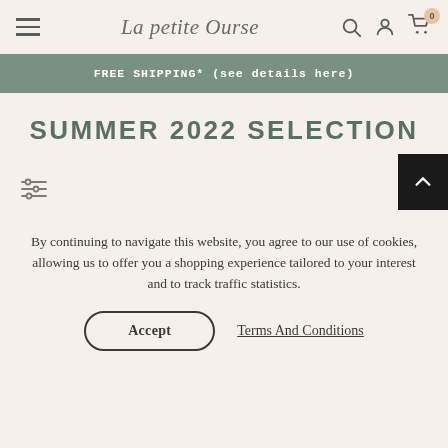La petite Ourse — navigation header with hamburger menu, logo, search, account, and cart icons
FREE SHIPPING* (see details here)
SUMMER 2022 SELECTION
[Figure (other): Filter/sliders icon on the left and a black back-to-top arrow button on the right]
By continuing to navigate this website, you agree to our use of cookies, allowing us to offer you a shopping experience tailored to your interest and to track traffic statistics.
Accept   Terms And Conditions